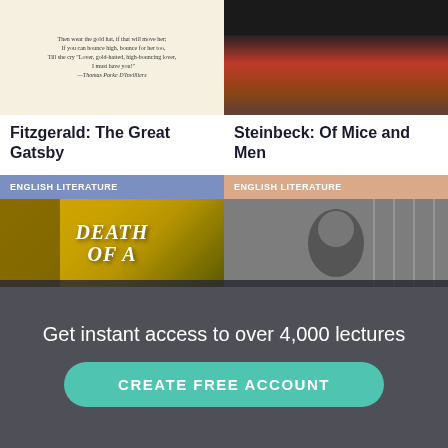[Figure (illustration): Book cover of The Great Gatsby with cream background and handwritten-style quote text]
[Figure (illustration): Book cover of Of Mice and Men with dark and red abstract imagery]
Fitzgerald: The Great Gatsby
Steinbeck: Of Mice and Men
ENGLISH LITERATURE
[Figure (illustration): Book cover of Death of a Salesman with yellow background and DEATH text in large italic letters]
ENGLISH LITERATURE
[Figure (illustration): Black and white photo of a woman (Sylvia Plath) in front of bookshelves]
Get instant access to over 4,000 lectures
CREATE FREE ACCOUNT